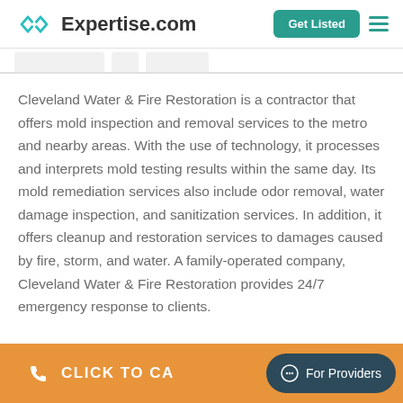Expertise.com — Get Listed
Cleveland Water & Fire Restoration is a contractor that offers mold inspection and removal services to the metro and nearby areas. With the use of technology, it processes and interprets mold testing results within the same day. Its mold remediation services also include odor removal, water damage inspection, and sanitization services. In addition, it offers cleanup and restoration services to damages caused by fire, storm, and water. A family-operated company, Cleveland Water & Fire Restoration provides 24/7 emergency response to clients.
CLICK TO CA...  For Providers